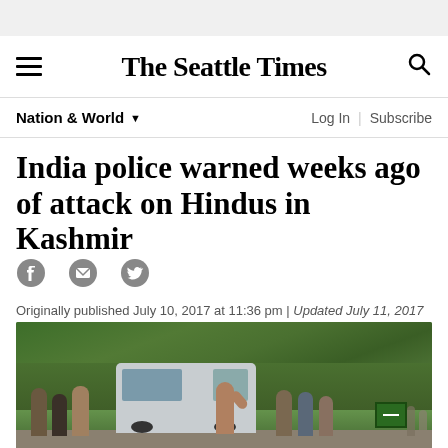The Seattle Times
Nation & World
India police warned weeks ago of attack on Hindus in Kashmir
Originally published July 10, 2017 at 11:36 pm | Updated July 11, 2017 at 6:15 pm
[Figure (photo): Outdoor scene showing people including law enforcement near a white van on a road with green hillside in background]